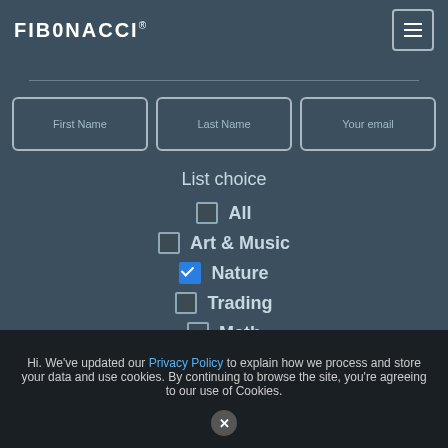FIBONACCI®
[Figure (screenshot): Web form with First Name, Last Name, Your email input fields and a List choice section with checkboxes: All (unchecked), Art & Music (unchecked), Nature (checked/blue), Trading (unchecked), Math (partially visible, unchecked)]
Hi. We've updated our Privacy Policy to explain how we process and store your data and use cookies. By continuing to browse the site, you're agreeing to our use of Cookies.